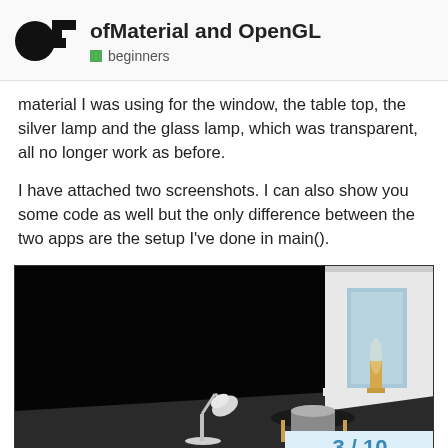ofMaterial and OpenGL — beginners
material I was using for the window, the table top, the silver lamp and the glass lamp, which was transparent, all no longer work as before.
I have attached two screenshots. I can also show you some code as well but the only difference between the two apps are the setup I've done in main().
[Figure (screenshot): 3D rendered room scene showing a desk lamp, a round table with a cylindrical object, and a wall with a window letting in light, against a dark/black background. Image is screenshot 3 of 10.]